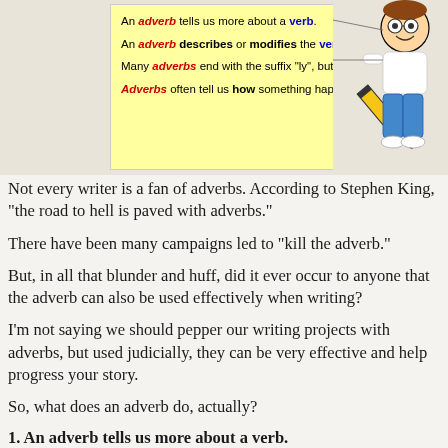[Figure (illustration): Yellow info box about adverbs with cartoon boy holding a large pencil. Box contains: 'An adverb tells us more about a verb.' 'An adverb describes or modifies the verb in some way.' 'Many adverbs end with the suffix "ly", but not all.' 'Adverbs often tell us how something happened.']
Not every writer is a fan of adverbs. According to Stephen King, "the road to hell is paved with adverbs."
There have been many campaigns led to "kill the adverb."
But, in all that blunder and huff, did it ever occur to anyone that the adverb can also be used effectively when writing?
I'm not saying we should pepper our writing projects with adverbs, but used judicially, they can be very effective and help progress your story.
So, what does an adverb do, actually?
1.  An adverb tells us more about a verb.